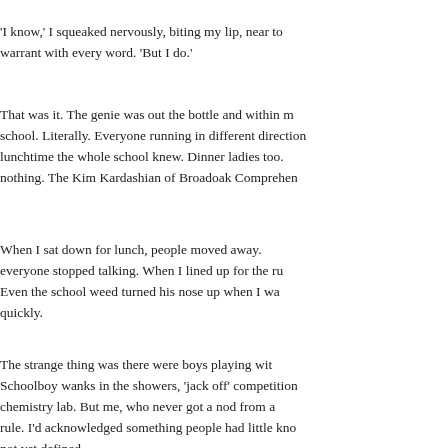'I know,' I squeaked nervously, biting my lip, near to warrant with every word. 'But I do.'
That was it. The genie was out the bottle and within minutes it was round school. Literally. Everyone running in different directions, and by lunchtime the whole school knew. Dinner ladies too. I was famous for nothing. The Kim Kardashian of Broadoak Comprehen
When I sat down for lunch, people moved away. When I walked in, everyone stopped talking. When I lined up for the ru Even the school weed turned his nose up when I wa quickly.
The strange thing was there were boys playing wit Schoolboy wanks in the showers, 'jack off' competition chemistry lab. But me, who never got a nod from a rule. I'd acknowledged something people had little kno not yet defined.
So I started a media blitz of the school corridors. Batt big joke. 'Oh you didn't believe that did you? It was boy? No! I'm in love with Mrs Kelly the music teache was convinced. My plan had failed. From being one o